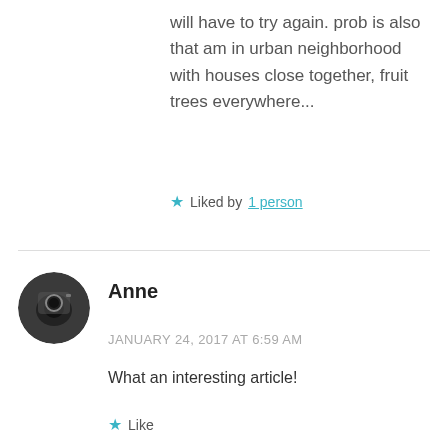will have to try again. prob is also that am in urban neighborhood with houses close together, fruit trees everywhere...
★ Liked by 1 person
Anne
JANUARY 24, 2017 AT 6:59 AM
What an interesting article!
★ Like